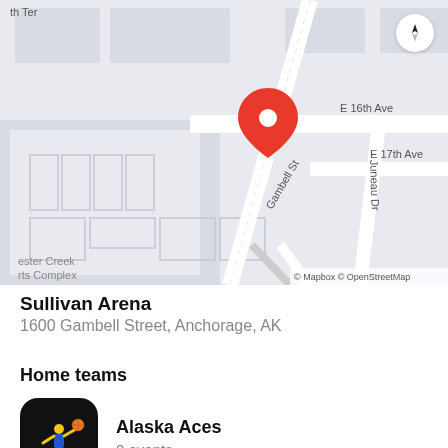[Figure (map): Street map showing Sullivan Arena location at 1600 Gambell Street, Anchorage, AK. Map shows E 16th Ave, Gambell St, E 17th Ave, Juneau Dr, and Chester Creek Sports Complex. Red location pin marker placed at the venue. Compass arrow in top right. Map credit: Mapbox © OpenStreetMap.]
Sullivan Arena
1600 Gambell Street, Anchorage, AK
Home teams
[Figure (logo): Alaska Aces team logo on black rounded square background, showing a basketball player figure in blue and yellow.]
Alaska Aces
0 events